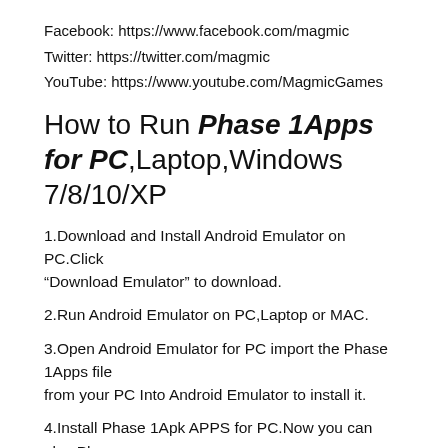Facebook: https://www.facebook.com/magmic
Twitter: https://twitter.com/magmic
YouTube: https://www.youtube.com/MagmicGames
How to Run Phase 1Apps for PC,Laptop,Windows 7/8/10/XP
1.Download and Install Android Emulator on PC.Click “Download Emulator” to download.
2.Run Android Emulator on PC,Laptop or MAC.
3.Open Android Emulator for PC import the Phase 1Apps file from your PC Into Android Emulator to install it.
4.Install Phase 1Apk APPS for PC.Now you can play Phase 1Apps on PC.